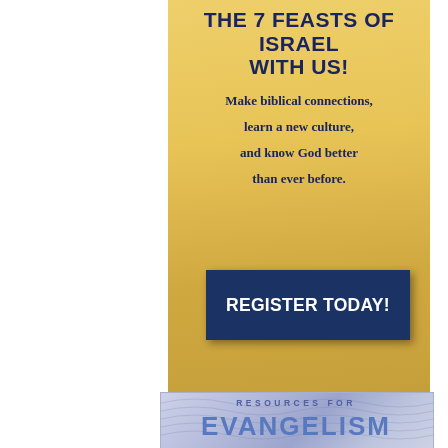THE 7 FEASTS OF ISRAEL WITH US!
Make biblical connections,
learn a new culture,
and know God better
than ever before.
REGISTER TODAY!
RESOURCES FOR
EVANGELISM